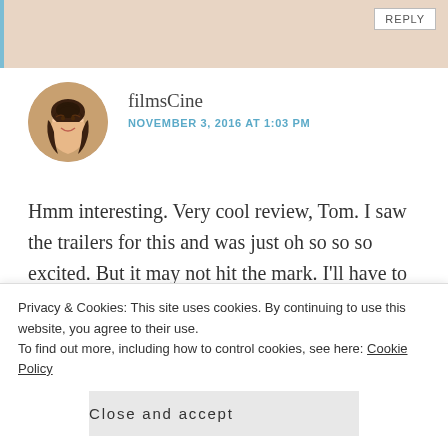[Figure (photo): Partial top of a previous comment shown as a beige bar with a Reply button]
[Figure (photo): Circular avatar photo of a smiling woman with dark hair (filmsCine commenter)]
filmsCine
NOVEMBER 3, 2016 AT 1:03 PM
Hmm interesting. Very cool review, Tom. I saw the trailers for this and was just oh so so so excited. But it may not hit the mark. I'll have to wait and see.
Liked by 1 person
REPLY
Damien Riley
Privacy & Cookies: This site uses cookies. By continuing to use this website, you agree to their use.
To find out more, including how to control cookies, see here: Cookie Policy
Close and accept